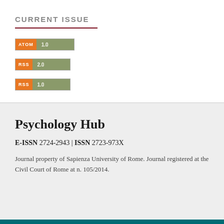CURRENT ISSUE
[Figure (other): ATOM 1.0 feed badge - orange label with white text ATOM next to olive/green box with text 1.0]
[Figure (other): RSS 2.0 feed badge - orange label with white text RSS next to olive/green box with text 2.0]
[Figure (other): RSS 1.0 feed badge - orange label with white text RSS next to olive/green box with text 1.0]
Psychology Hub
E-ISSN 2724-2943 | ISSN 2723-973X
Journal property of Sapienza University of Rome. Journal registered at the Civil Court of Rome at n. 105/2014.